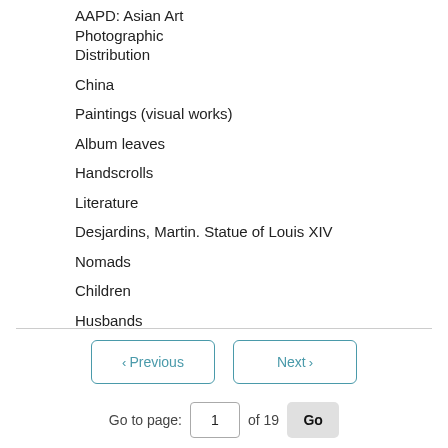AAPD: Asian Art Photographic Distribution
China
Paintings (visual works)
Album leaves
Handscrolls
Literature
Desjardins, Martin. Statue of Louis XIV
Nomads
Children
Husbands